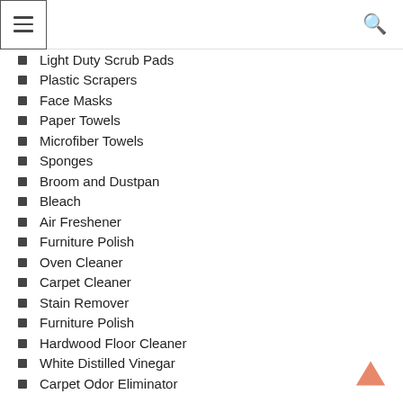Navigation menu header with hamburger icon and search icon
Light Duty Scrub Pads
Plastic Scrapers
Face Masks
Paper Towels
Microfiber Towels
Sponges
Broom and Dustpan
Bleach
Air Freshener
Furniture Polish
Oven Cleaner
Carpet Cleaner
Stain Remover
Furniture Polish
Hardwood Floor Cleaner
White Distilled Vinegar
Carpet Odor Eliminator